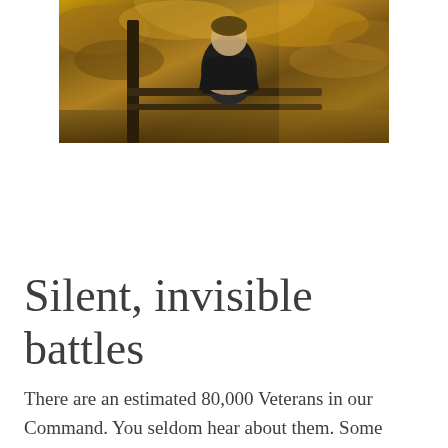[Figure (photo): A person in a dark jacket sitting on or leaning against a bench or railing outdoors, with autumn foliage in the background. Warm golden light.]
Silent, invisible battles
There are an estimated 80,000 Veterans in our Command. You seldom hear about them. Some have moved on with their lives. But